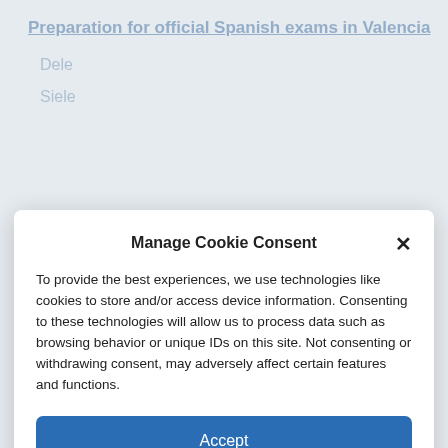Preparation for official Spanish exams in Valencia
Dele
Siele
Manage Cookie Consent
To provide the best experiences, we use technologies like cookies to store and/or access device information. Consenting to these technologies will allow us to process data such as browsing behavior or unique IDs on this site. Not consenting or withdrawing consent, may adversely affect certain features and functions.
Accept
Deny
View preferences